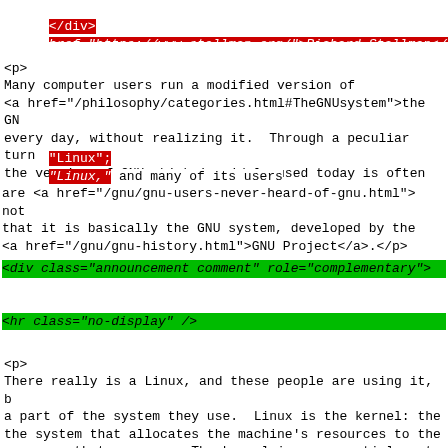</div>
href="https://www.stallman.org/">Richard Stallman</a></ad
<p>
Many computer users run a modified version of
<a href="/philosophy/categories.html#TheGNUsystem">the GN
every day, without realizing it.  Through a peculiar turn
the version of GNU which is widely used today is often ca
"Linux";
"Linux," and many of its users
are <a href="/gnu/gnu-users-never-heard-of-gnu.html"> not
that it is basically the GNU system, developed by the
<a href="/gnu/gnu-history.html">GNU Project</a>.</p>
<div class="announcement comment" role="complementary">
<hr class="no-display" />
<p>For more information see also
the <a href="/gnu/gnu-linux-faq.html">GNU/Linux FAQ</a>,
and <a href="/gnu/why-gnu-linux.html">Why GNU/Linux?</a><
<hr class="no-display" />
</div>
<p>
There really is a Linux, and these people are using it, b
a part of the system they use.  Linux is the kernel: the
the system that allocates the machine's resources to the
programs that you run.  The kernel is an essential part o
operating system, but useless by itself; it can only func
context of a complete operating system.  Linux is normali
combination with the GNU operating system: the whole syst